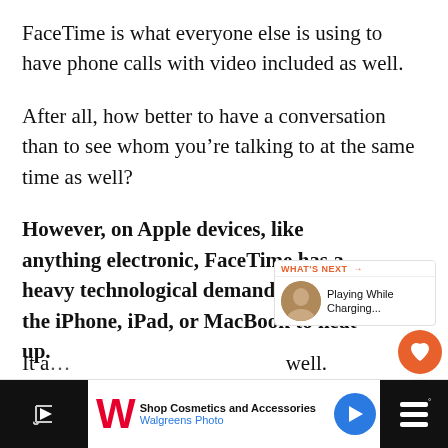FaceTime is what everyone else is using to have phone calls with video included as well.
After all, how better to have a conversation than to see whom you’re talking to at the same time as well?
However, on Apple devices, like anything electronic, FaceTime has a heavy technological demand, and that the iPhone, iPad, or MacBook to heat up.
[Figure (screenshot): Social sharing UI: heart/like button (orange circle) and share button (white circle with share icon). A 'What's Next' widget shows a thumbnail and 'Playing While Charging...' text.]
[Figure (screenshot): Advertisement banner for Walgreens Photo showing logo, 'Shop Cosmetics and Accessories' text, blue arrow button, and dark side panels.]
It a… well.